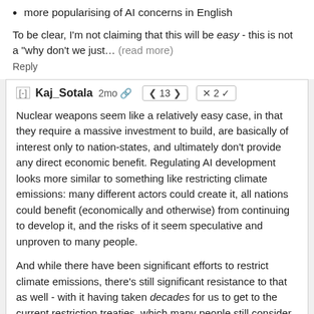more popularising of AI concerns in English
To be clear, I'm not claiming that this will be easy - this is not a "why don't we just... (read more)
Reply
[-] Kaj_Sotala 2mo 13 × 2
Nuclear weapons seem like a relatively easy case, in that they require a massive investment to build, are basically of interest only to nation-states, and ultimately don't provide any direct economic benefit. Regulating AI development looks more similar to something like restricting climate emissions: many different actors could create it, all nations could benefit (economically and otherwise) from continuing to develop it, and the risks of it seem speculative and unproven to many people.
And while there have been significant efforts to restrict climate emissions, there's still significant resistance to that as well - with it having taken decades for us to get to the current restriction treaties, which many people still consider insufficient.